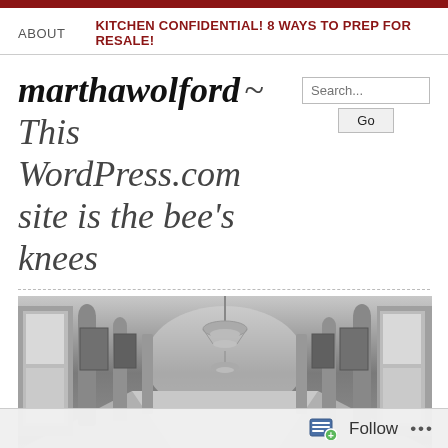ABOUT   KITCHEN CONFIDENTIAL! 8 WAYS TO PREP FOR RESALE!
marthawolford ~ This WordPress.com site is the bee's knees
[Figure (photo): Black and white photograph of an ornate hallway or gallery with arched ceilings, a chandelier, tall windows, and framed paintings on the walls, creating a long perspective view.]
Kitchen Confidential 8